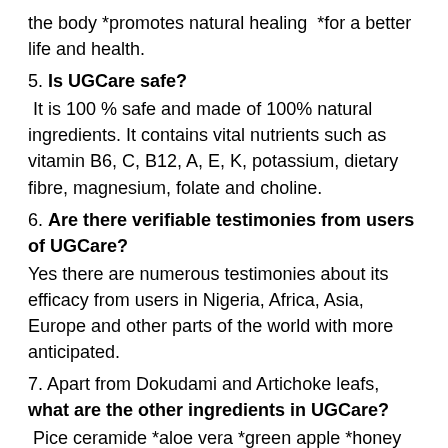the body *promotes natural healing  *for a better life and health.
5. Is UGCare safe?
It is 100 % safe and made of 100% natural ingredients. It contains vital nutrients such as vitamin B6, C, B12, A, E, K, potassium, dietary fibre, magnesium, folate and choline.
6. Are there verifiable testimonies from users of UGCare?
Yes there are numerous testimonies about its efficacy from users in Nigeria, Africa, Asia, Europe and other parts of the world with more anticipated.
7. Apart from Dokudami and Artichoke leafs, what are the other ingredients in UGCare?
Pice ceramide *aloe vera *green apple *honey